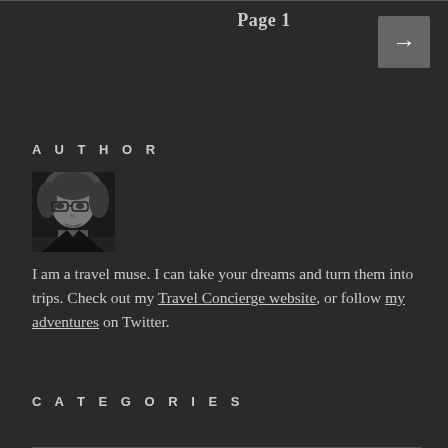Page 1
AUTHOR
[Figure (photo): Black and white portrait photo of a woman with short hair and glasses, looking slightly sideways]
I am a travel muse. I can take your dreams and turn them into trips. Check out my Travel Concierge website, or follow my adventures on Twitter.
CATEGORIES